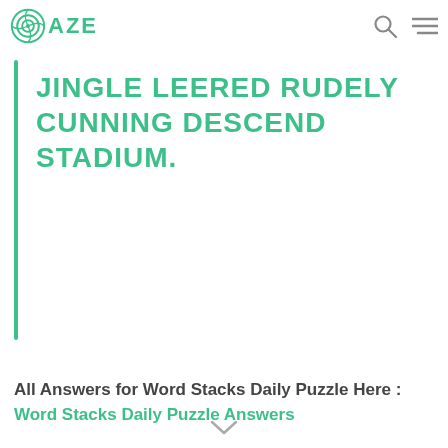OAZE
JINGLE LEERED RUDELY CUNNING DESCEND STADIUM.
All Answers for Word Stacks Daily Puzzle Here : Word Stacks Daily Puzzle Answers